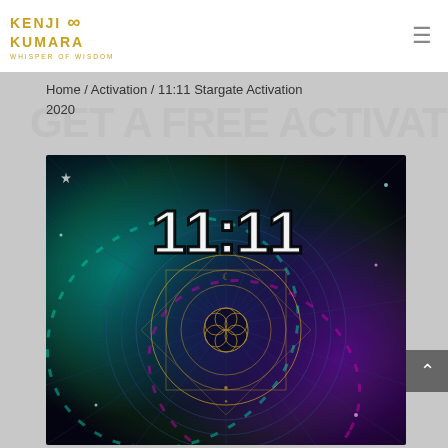Kenji Kumara - Whisper of Wisdom
Home / Activation / 11:11 Stargate Activation 2020
GET A FREE ACTIVATION
[Figure (illustration): 11:11 Stargate Activation 2020 — mystical artwork showing '11:11' text in bold white/black lettering over a cosmic background with teal and purple energy swirls, sacred geometry flower of life mandala in center with golden/navy colors, radiating geometric patterns and star-like light effects.]